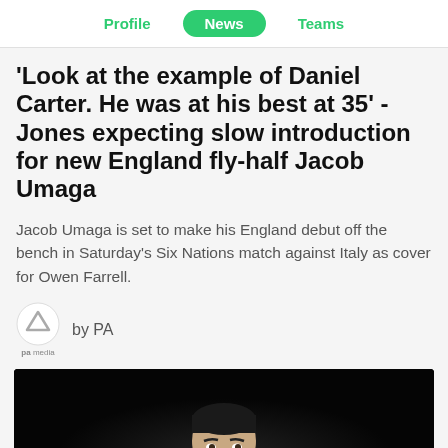Profile | News | Teams
'Look at the example of Daniel Carter. He was at his best at 35' - Jones expecting slow introduction for new England fly-half Jacob Umaga
Jacob Umaga is set to make his England debut off the bench in Saturday's Six Nations match against Italy as cover for Owen Farrell.
by PA
[Figure (photo): Dark photo of a rugby player (Daniel Carter) in black, with face visible against a dark background]